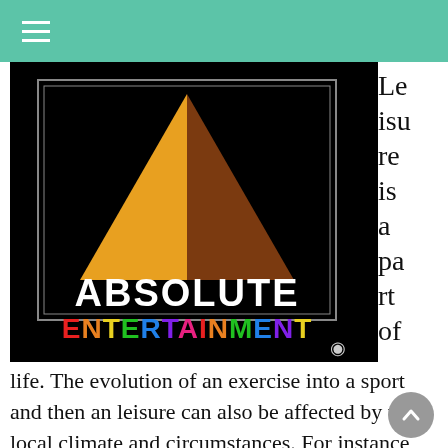[Figure (logo): Absolute Entertainment logo: golden and brown pyramid triangle on black background with the text ABSOLUTE ENTERTAINMENT in white/multicolor letters and a copyright eye symbol]
Leisure is a part of
life. The evolution of an exercise into a sport and then an leisure can also be affected by the local climate and circumstances. For instance, the modern sport of surfing is related to Hawaii and that of snow skiing in